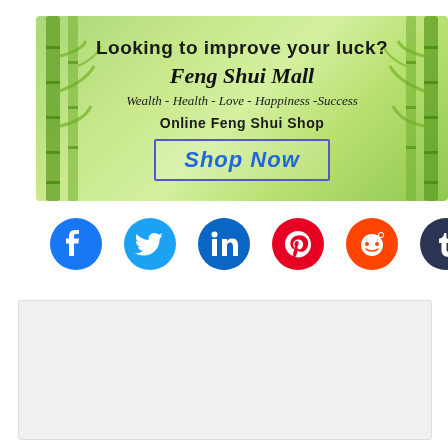[Figure (illustration): Feng Shui Mall advertisement banner with bamboo background. Text reads: Looking to improve your luck? Feng Shui Mall. Wealth - Health - Love - Happiness - Success. Online Feng Shui Shop. Shop Now button with blue border.]
[Figure (infographic): Row of six social media icon buttons: Facebook (blue), Twitter (light blue), LinkedIn (dark blue), Pinterest (red), Reddit (orange-red), Tumblr (dark navy).]
[Figure (other): Gray comment/content placeholder box.]